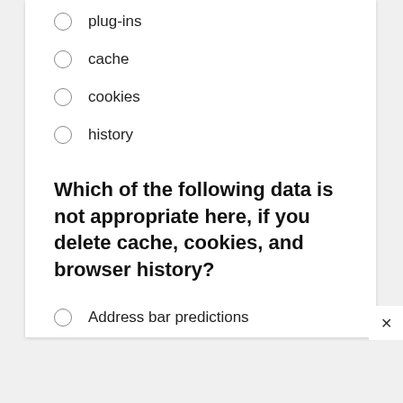plug-ins
cache
cookies
history
Which of the following data is not appropriate here, if you delete cache, cookies, and browser history?
Address bar predictions